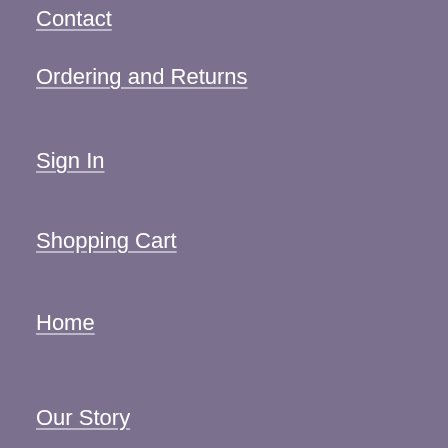Contact
Ordering and Returns
Sign In
Shopping Cart
Home
Our Story
Author Submission Guidelines
Study Group Guidelines
Employment Opportunities
Privacy Policy